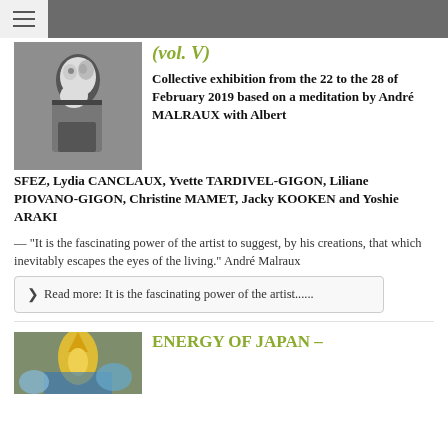≡
[Figure (photo): Black and white photo of a man examining a sculpture closely]
(vol. V)
Collective exhibition from the 22 to the 28 of February 2019 based on a meditation by André MALRAUX with Albert SFEZ, Lydia CANCLAUX, Yvette TARDIVEL-GIGON, Liliane PIOVANO-GIGON, Christine MAMET, Jacky KOOKEN and Yoshie ARAKI
— "It is the fascinating power of the artist to suggest, by his creations, that which inevitably escapes the eyes of the living." André Malraux
❯ Read more: It is the fascinating power of the artist......
[Figure (illustration): Colorful illustration with golden figure and blue sky]
ENERGY OF JAPAN –